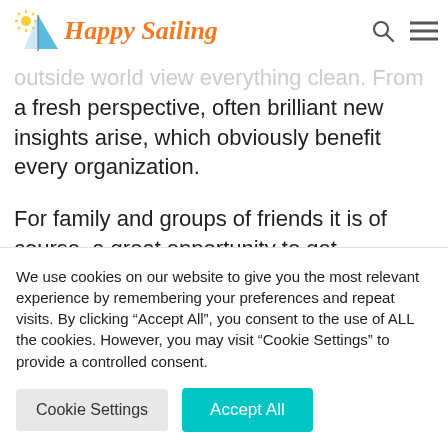[Figure (logo): Happy Sailing logo with sun and sailboat icon in blue and orange, with the text 'Happy Sailing' in orange italic serif font]
and the internet is a great opportunity
for teams and companies to let the
outside world view everything clean. From
a fresh perspective, often brilliant new
insights arise, which obviously benefit
every organization.
For family and groups of friends it is of
course, a great opportunity to get
We use cookies on our website to give you the most relevant experience by remembering your preferences and repeat visits. By clicking “Accept All”, you consent to the use of ALL the cookies. However, you may visit "Cookie Settings" to provide a controlled consent.
Cookie Settings
Accept All